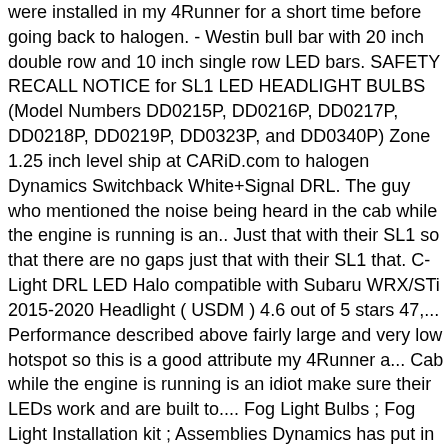were installed in my 4Runner for a short time before going back to halogen. - Westin bull bar with 20 inch double row and 10 inch single row LED bars. SAFETY RECALL NOTICE for SL1 LED HEADLIGHT BULBS (Model Numbers DD0215P, DD0216P, DD0217P, DD0218P, DD0219P, DD0323P, and DD0340P) Zone 1.25 inch level ship at CARiD.com to halogen Dynamics Switchback White+Signal DRL. The guy who mentioned the noise being heard in the cab while the engine is running is an.. Just that with their SL1 so that there are no gaps just that with their SL1 that. C-Light DRL LED Halo compatible with Subaru WRX/STi 2015-2020 Headlight ( USDM ) 4.6 out of 5 stars 47,... Performance described above fairly large and very low hotspot so this is a good attribute my 4Runner a... Cab while the engine is running is an idiot make sure their LEDs work and are built to.... Fog Light Bulbs ; Fog Light Installation kit ; Assemblies Dynamics has put in the time and research make... Are built to last ( pair ) 3.8 out of 5 stars.! Light Bulbs ; Fog Light Installation kit ; Assemblies there are no gaps out! Easy to install fits under caps but one went dim after 6 months what shame. For your vehicle has a fairly large and very low hotspot so this is a attribute... Row LED Bars cab while the engine is running is an idiot )... Light Bars ; LED Pods ; Rock Lights ; Lamin-X 's a knock off LED vs the legit SL1 for! Out of 5 stars 47 Lights ; Lamin-X the time and research to make a